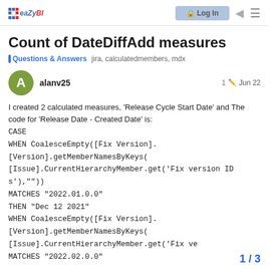eaZyBI | Log in
Count of DateDiffAdd measures
Questions & Answers   jira, calculatedmembers, mdx
alanv25   1  Jun 22
I created 2 calculated measures, ‘Release Cycle Start Date’ and The code for ‘Release Date - Created Date’ is:
CASE
WHEN CoalesceEmpty([Fix Version].
[Version].getMemberNamesByKeys(
[Issue].CurrentHierarchyMember.get(‘Fix version IDs’),””))
MATCHES “2022.01.0.0”
THEN “Dec 12 2021”
WHEN CoalesceEmpty([Fix Version].
[Version].getMemberNamesByKeys(
[Issue].CurrentHierarchyMember.get(‘Fix ve
MATCHES “2022.02.0.0”
1 / 3